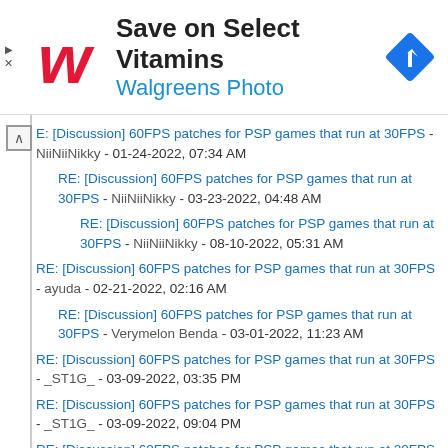[Figure (other): Walgreens advertisement banner with logo, 'Save on Select Vitamins' title, 'Walgreens Photo' subtitle, and navigation icon]
E: [Discussion] 60FPS patches for PSP games that run at 30FPS - NiiNiiNikky - 01-24-2022, 07:34 AM
RE: [Discussion] 60FPS patches for PSP games that run at 30FPS - NiiNiiNikky - 03-23-2022, 04:48 AM
RE: [Discussion] 60FPS patches for PSP games that run at 30FPS - NiiNiiNikky - 08-10-2022, 05:31 AM
RE: [Discussion] 60FPS patches for PSP games that run at 30FPS - ayuda - 02-21-2022, 02:16 AM
RE: [Discussion] 60FPS patches for PSP games that run at 30FPS - Verymelon Benda - 03-01-2022, 11:23 AM
RE: [Discussion] 60FPS patches for PSP games that run at 30FPS - _ST1G_ - 03-09-2022, 03:35 PM
RE: [Discussion] 60FPS patches for PSP games that run at 30FPS - _ST1G_ - 03-09-2022, 09:04 PM
RE: [Discussion] 60FPS patches for PSP games that run at 30FPS - michaellnguyen1230@gmail.com - 05-13-2022, 03:35 AM
RE: [Discussion] 60FPS patches for PSP games that run at 30FPS - fgeds - 06-10-2022, 08:53 PM
RE: [Discussion] 60FPS patches for PSP games that run at 30FPS